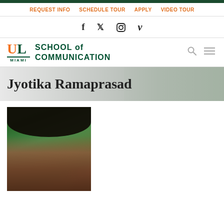REQUEST INFO   SCHEDULE TOUR   APPLY   VIDEO TOUR
[Figure (logo): Social media icons: Facebook (f), Twitter (bird), Instagram (circle), Vimeo (V)]
[Figure (logo): University of Miami School of Communication logo with U and L letters in orange and green, MIAMI text below, and SCHOOL of COMMUNICATION text]
Jyotika Ramaprasad
[Figure (photo): Portrait photo of Jyotika Ramaprasad, a woman with dark hair and glasses, smiling, with green foliage in the background]